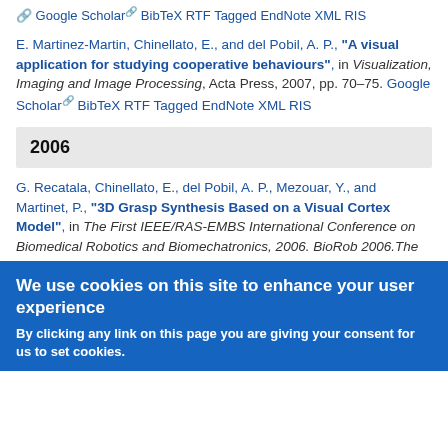Google Scholar BibTeX RTF Tagged EndNote XML RIS
E. Martinez-Martin, Chinellato, E., and del Pobil, A. P., "A visual application for studying cooperative behaviours", in Visualization, Imaging and Image Processing, Acta Press, 2007, pp. 70–75. Google Scholar BibTeX RTF Tagged EndNote XML RIS
2006
G. Recatala, Chinellato, E., del Pobil, A. P., Mezouar, Y., and Martinet, P., "3D Grasp Synthesis Based on a Visual Cortex Model", in The First IEEE/RAS-EMBS International Conference on Biomedical Robotics and Biomechatronics, 2006. BioRob 2006.The First IEEE/RAS-EMBS International Conference on Biomedical Robotics and Biomechatronics, 2006. BioRob 2006., Pisa, Italy, 2006. DOI Google Scholar BibTeX RTF Tagged EndNote XML RIS
1 2 next › last »
We use cookies on this site to enhance your user experience
By clicking any link on this page you are giving your consent for us to set cookies.